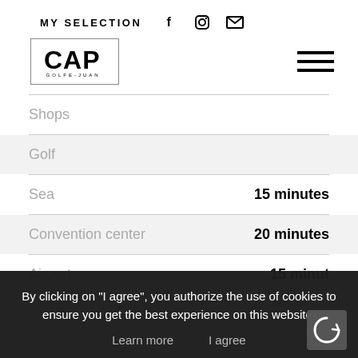MY SELECTION
[Figure (logo): CAP logo in a rectangular border box with small text below]
Shops
Golf
Sea  15 minutes
Convention center  20 minutes
Airport  15 minut...
By clicking on "I agree", you authorize the use of cookies to ensure you get the best experience on this website.
Learn more   I agree